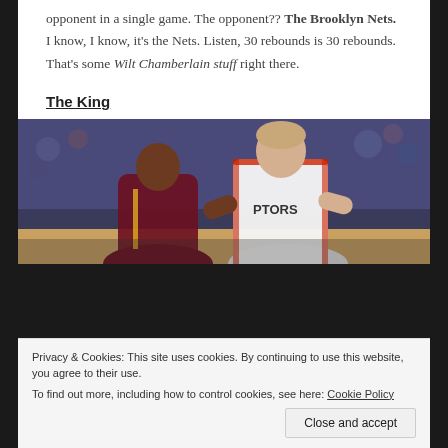opponent in a single game. The opponent?? The Brooklyn Nets. I know, I know, it's the Nets. Listen, 30 rebounds is 30 rebounds. That's some Wilt Chamberlain stuff right there.
The King
[Figure (photo): Basketball game photo showing a Toronto Raptors player in white jersey with 'PTORS' visible, battling for position against a Cleveland Cavaliers player in dark maroon jersey, with a crowd in the background.]
Privacy & Cookies: This site uses cookies. By continuing to use this website, you agree to their use. To find out more, including how to control cookies, see here: Cookie Policy
Close and accept